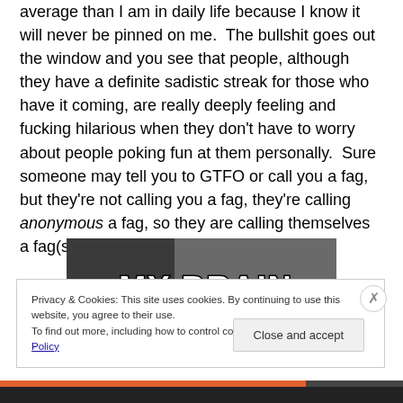average than I am in daily life because I know it will never be pinned on me.  The bullshit goes out the window and you see that people, although they have a definite sadistic streak for those who have it coming, are really deeply feeling and fucking hilarious when they don't have to worry about people poking fun at them personally.  Sure someone may tell you to GTFO or call you a fag, but they're not calling you a fag, they're calling anonymous a fag, so they are calling themselves a fag(s).
[Figure (photo): Image showing text 'MY BRAIN' in bold white Impact font with black outline, overlaid on a dark/grey background photo]
Privacy & Cookies: This site uses cookies. By continuing to use this website, you agree to their use.
To find out more, including how to control cookies, see here: Cookie Policy